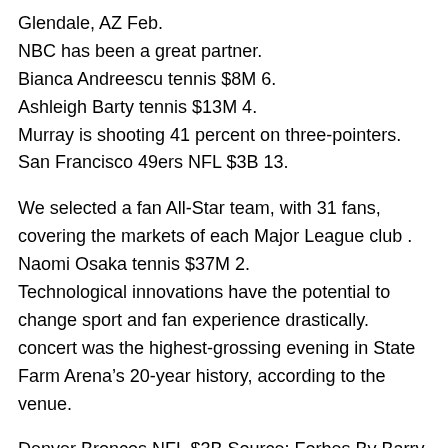Glendale, AZ Feb.
NBC has been a great partner.
Bianca Andreescu tennis $8M 6.
Ashleigh Barty tennis $13M 4.
Murray is shooting 41 percent on three-pointers.
San Francisco 49ers NFL $3B 13.
We selected a fan All-Star team, with 31 fans, covering the markets of each Major League club .
Naomi Osaka tennis $37M 2.
Technological innovations have the potential to change sport and fan experience drastically.
concert was the highest-grossing evening in State Farm Arena’s 20-year history, according to the venue.
Denver Broncos NFL $3B Source: Forbes By Barry Janoff June 2: In its on-going efforts to cut into the marketing share of Gatorade, Powerade and other